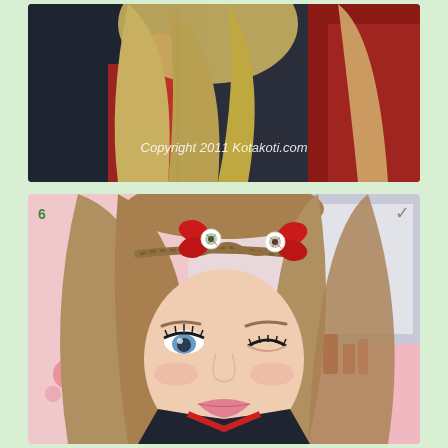[Figure (photo): Top photo: A young woman with long blonde hair wearing a dark navy/black jacket with red accents, viewed from behind/side. A watermark reads 'Copyright 2011 Kotakoti.com' in white text on the lower portion of the image.]
[Figure (photo): Bottom photo numbered '6': A young woman with medium brown hair in a braided headband, wearing red eyeball bow hair accessories on each side of her head. She has dramatic eye makeup with one eye open and one partially closed, and is wearing a dark jacket with red collar. A pink room with floral decorations and a mirror/vanity are visible in the background. A checkmark icon appears in the upper right corner of the image frame.]